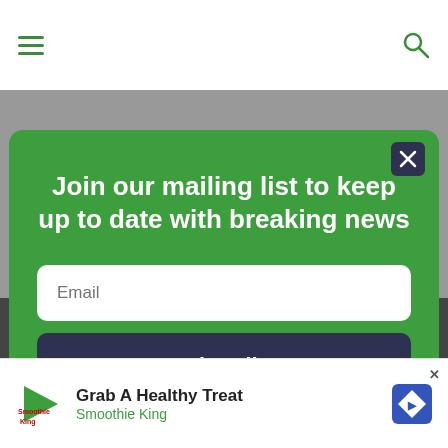Navigation bar with hamburger menu and search icon
Join our mailing list to keep up to date with breaking news
Email
Subscribe
Grab A Healthy Treat
Smoothie King